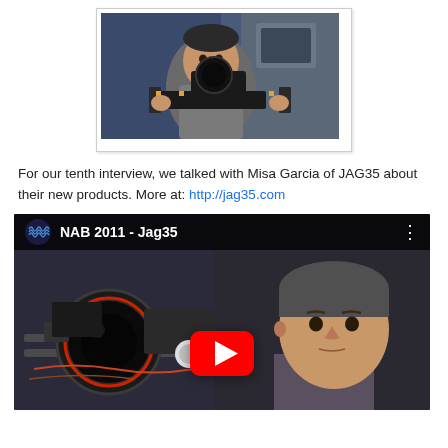[Figure (photo): Man holding a camera rig with stabilizer equipment at what appears to be a trade show or exhibition]
For our tenth interview, we talked with Misa Garcia of JAG35 about their new products. More at: http://jag35.com
[Figure (screenshot): YouTube video thumbnail showing NAB 2011 - Jag35 with a man behind camera equipment and a YouTube play button overlay]